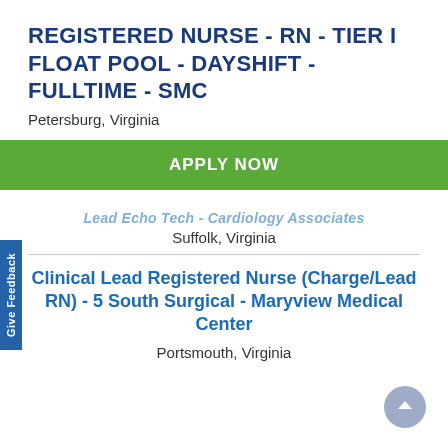REGISTERED NURSE - RN - TIER I FLOAT POOL - DAYSHIFT - FULLTIME - SMC
Petersburg, Virginia
APPLY NOW
Lead Echo Tech - Cardiology Associates
Suffolk, Virginia
Clinical Lead Registered Nurse (Charge/Lead RN) - 5 South Surgical - Maryview Medical Center
Portsmouth, Virginia